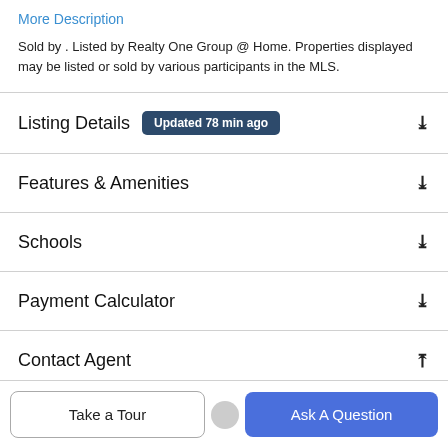More Description
Sold by . Listed by Realty One Group @ Home. Properties displayed may be listed or sold by various participants in the MLS.
Listing Details
Features & Amenities
Schools
Payment Calculator
Contact Agent
Take a Tour
Ask A Question